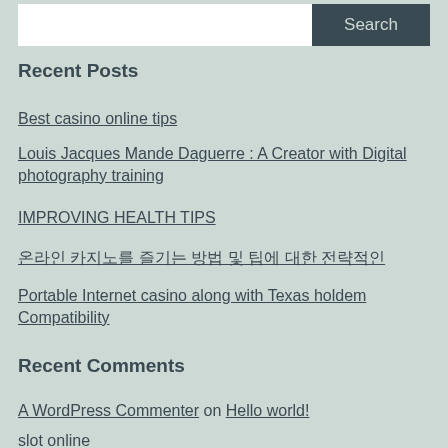[Figure (screenshot): Search bar with white input field on left and dark 'Search' button on right]
Recent Posts
Best casino online tips
Louis Jacques Mande Daguerre : A Creator with Digital photography training
IMPROVING HEALTH TIPS
온라인 카지노를 즐기는 방법 및 팁에 대한 전략적인
Portable Internet casino along with Texas holdem Compatibility
Recent Comments
A WordPress Commenter on Hello world!
slot online